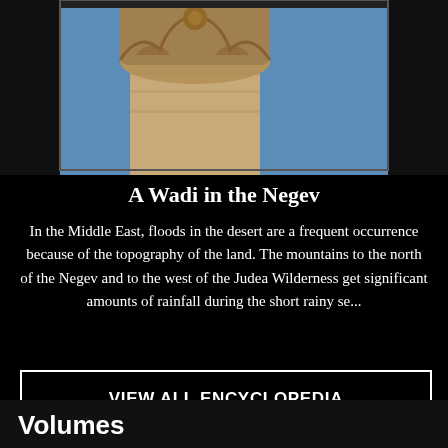[Figure (photo): Close-up photograph of an ornate stone column capital with carved decorations against a blue sky background, cropped at the top.]
A Wadi in the Negev
In the Middle East, floods in the desert are a frequent occurrence because of the topography of the land. The mountains to the north of the Negev and to the west of the Judea Wilderness get significant amounts of rainfall during the short rainy se...
VIEW ALL ENCYCLOPEDIA
Volumes